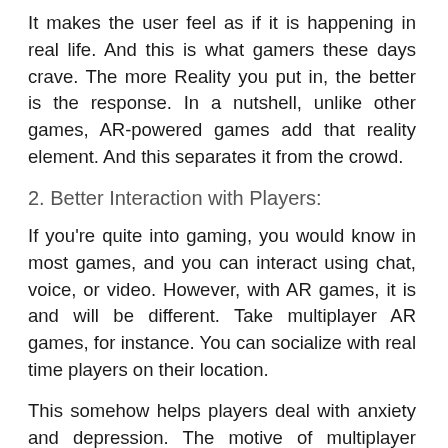It makes the user feel as if it is happening in real life. And this is what gamers these days crave. The more Reality you put in, the better is the response. In a nutshell, unlike other games, AR-powered games add that reality element. And this separates it from the crowd.
2. Better Interaction with Players:
If you're quite into gaming, you would know in most games, and you can interact using chat, voice, or video. However, with AR games, it is and will be different. Take multiplayer AR games, for instance. You can socialize with real time players on their location.
This somehow helps players deal with anxiety and depression. The motive of multiplayer games is to bring people together. And AR makes sure of that.